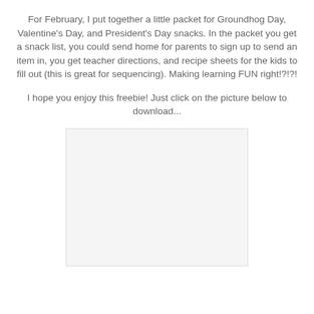For February, I put together a little packet for Groundhog Day, Valentine's Day, and President's Day snacks. In the packet you get a snack list, you could send home for parents to sign up to send an item in, you get teacher directions, and recipe sheets for the kids to fill out (this is great for sequencing). Making learning FUN right!?!?!
I hope you enjoy this freebie! Just click on the picture below to download...
[Figure (other): A white rectangular image placeholder representing a downloadable packet preview.]